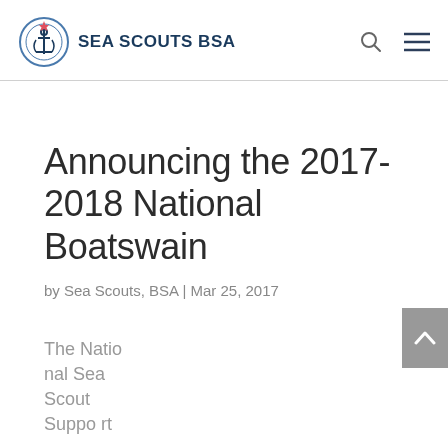SEA SCOUTS BSA
Announcing the 2017-2018 National Boatswain
by Sea Scouts, BSA | Mar 25, 2017
The National Sea Scout Support